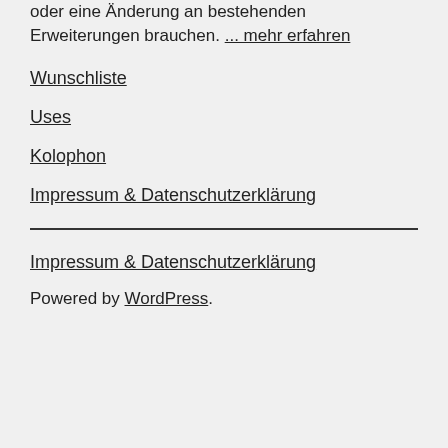oder eine Änderung an bestehenden Erweiterungen brauchen. ... mehr erfahren
Wunschliste
Uses
Kolophon
Impressum & Datenschutzerklärung
Impressum & Datenschutzerklärung
Powered by WordPress.